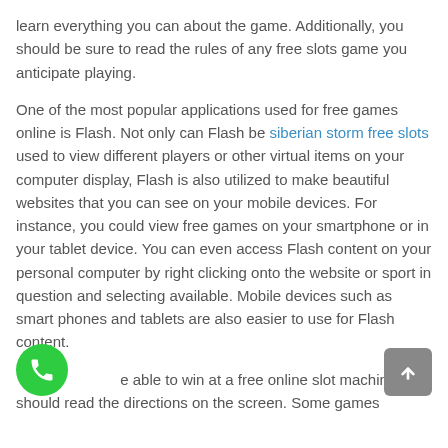learn everything you can about the game. Additionally, you should be sure to read the rules of any free slots game you anticipate playing.
One of the most popular applications used for free games online is Flash. Not only can Flash be siberian storm free slots used to view different players or other virtual items on your computer display, Flash is also utilized to make beautiful websites that you can see on your mobile devices. For instance, you could view free games on your smartphone or in your tablet device. You can even access Flash content on your personal computer by right clicking onto the website or sport in question and selecting available. Mobile devices such as smart phones and tablets are also easier to use for Flash content.
…e able to win at a free online slot machine you should read the directions on the screen. Some games